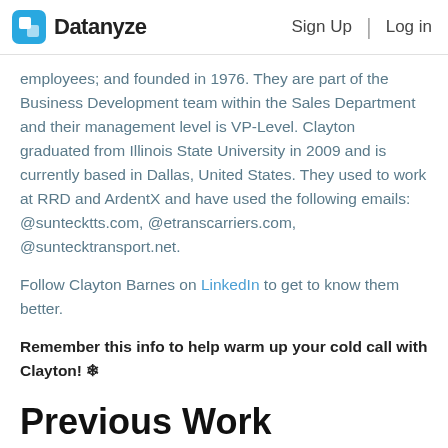Datanyze | Sign Up | Log in
employees; and founded in 1976. They are part of the Business Development team within the Sales Department and their management level is VP-Level. Clayton graduated from Illinois State University in 2009 and is currently based in Dallas, United States. They used to work at RRD and ArdentX and have used the following emails: @suntecktts.com, @etranscarriers.com, @suntecktransport.net.
Follow Clayton Barnes on LinkedIn to get to know them better.
Remember this info to help warm up your cold call with Clayton! ❄
Previous Work Experience